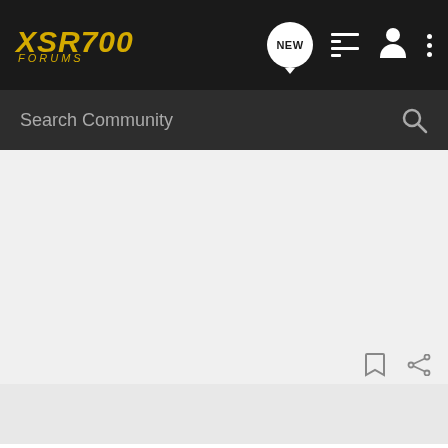XSR700 FORUMS
Search Community
[Figure (screenshot): White/grey advertisement area placeholder]
GogglesMcoy · Registered
Joined Aug 10, 2015 · 334 Posts
[Figure (infographic): Yamaha 2021 MT-07 advertisement banner with CLICK HERE button]
#5 · Mar